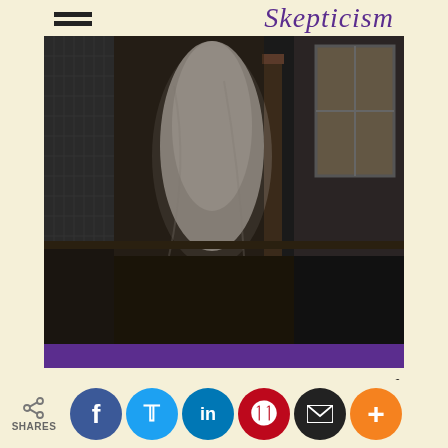[Figure (illustration): Book cover for a philosophy publication about Skepticism. Purple background with a black-and-white photograph of a ghostly figure in what appears to be a Victorian interior. The word 'Skepticism' appears in italic serif font at the top right. Top left has a hamburger menu icon.]
Subscribe to The Philosophers' Magazine for exclusive content and access
[Figure (infographic): Social sharing bar at bottom with share count icon, Facebook, Twitter, LinkedIn, Pinterest, Email, and More (+) circular buttons. Labels: SHARES]